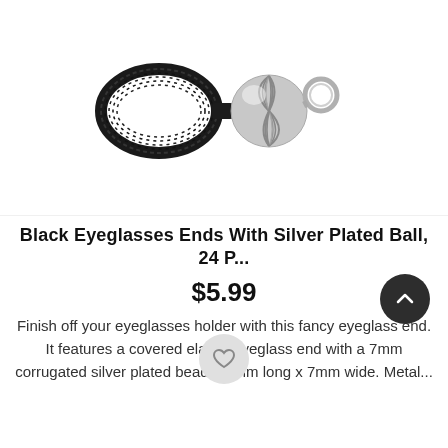[Figure (photo): Product photo of black coil eyeglass end holder with silver plated corrugated ball bead and metal loop connector]
Black Eyeglasses Ends With Silver Plated Ball, 24 P...
$5.99
Finish off your eyeglasses holder with this fancy eyeglass end. It features a covered elastic eyeglass end with a 7mm corrugated silver plated bead. 20mm long x 7mm wide. Metal...